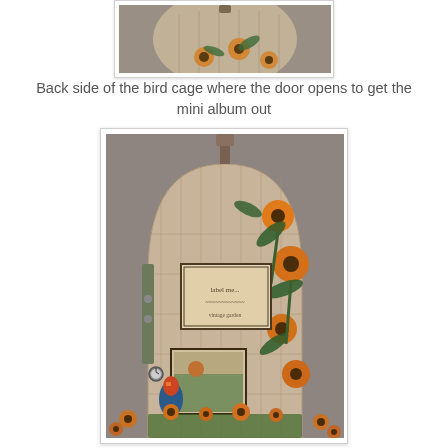[Figure (photo): Top partial view of a decorative bird cage craft project with sunflower motif, shown from above]
Back side of the bird cage where the door opens to get the mini album out
[Figure (photo): Back side of an arch-shaped decorative bird cage craft with sunflower paper, a small framed label, rooster embellishment, clock charm, and mini album visible through open door, displayed on gray fabric background]